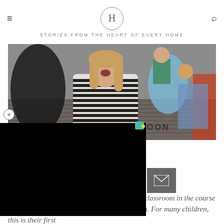H — STORIES FROM THE HEART OF EVERY HOME
[Figure (photo): Children sitting on a classroom floor, a laughing girl with long blonde hair wearing a striped shirt is prominent in the foreground]
[Figure (screenshot): Black overlay covering part of the page, with partial text 'OON' visible and share/social icons]
It's hard to put into words what happens in a classroom in the course of a year. Especially a kindergarten classroom. For many children, this is their first